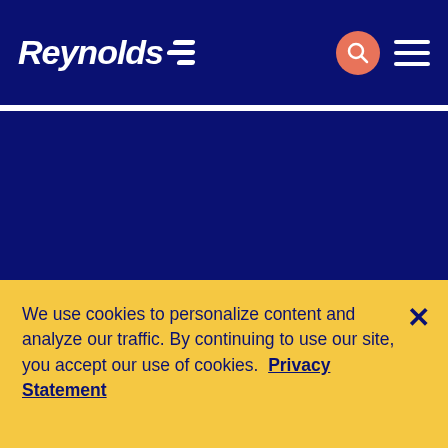[Figure (logo): Reynolds logo with italic white text and three diagonal white stripes on dark navy blue header bar with search icon and hamburger menu]
[Figure (other): Large dark navy blue background area (main content area of website)]
We use cookies to personalize content and analyze our traffic. By continuing to use our site, you accept our use of cookies.  Privacy Statement